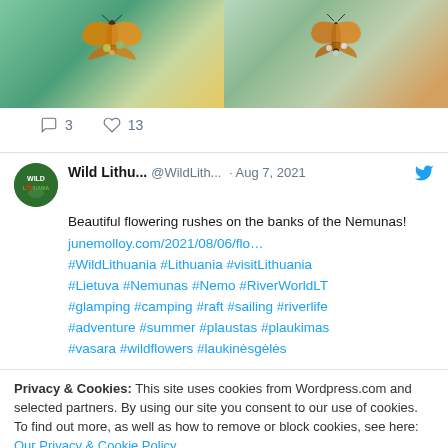[Figure (photo): Two photos of butterflies on flowers side by side - left shows orange butterfly on pink/purple flowers with green background, right shows orange butterfly on white/pink flowers]
3  13
Wild Lithu... @WildLith... · Aug 7, 2021
Beautiful flowering rushes on the banks of the Nemunas!
junemolloy.com/2021/08/06/flo…
#WildLithuania #Lithuania #visitLithuania
#Lietuva #Nemunas #Nemo #RiverWorldLT
#glamping #camping #raft #sailing #riverlife
#adventure #summer #plaustas #plaukimas
#vasara #wildflowers #laukinėsgėlės
Privacy & Cookies: This site uses cookies from Wordpress.com and selected partners. By using our site you consent to our use of cookies. To find out more, as well as how to remove or block cookies, see here: Our Privacy & Cookie Policy
Close and accept
[Figure (photo): Two partial photos at bottom - left shows red/pink flowers closeup, right shows pink/purple small flowers]